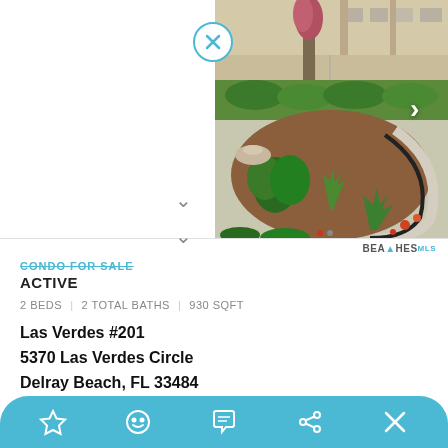[Figure (photo): Outdoor landscaped courtyard of a condo building with tropical plants, mulched beds, and building facade visible in background]
CONDO FOR SALE
ACTIVE
2 BEDS | 2 TOTAL BATHS | 930 SQFT
Las Verdes #201
5370 Las Verdes Circle
Delray Beach, FL 33484